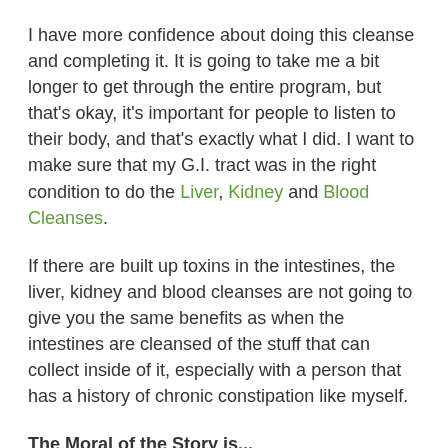I have more confidence about doing this cleanse and completing it. It is going to take me a bit longer to get through the entire program, but that's okay, it's important for people to listen to their body, and that's exactly what I did. I want to make sure that my G.I. tract was in the right condition to do the Liver, Kidney and Blood Cleanses.
If there are built up toxins in the intestines, the liver, kidney and blood cleanses are not going to give you the same benefits as when the intestines are cleansed of the stuff that can collect inside of it, especially with a person that has a history of chronic constipation like myself.
The Moral of the Story is...